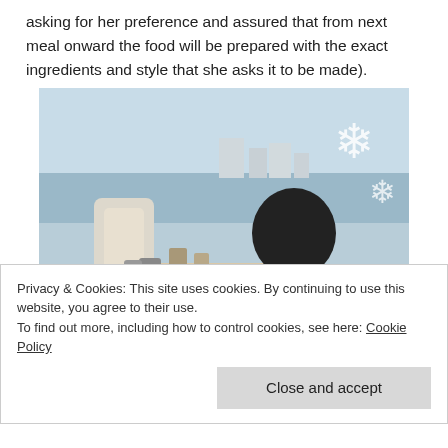asking for her preference and assured that from next meal onward the food will be prepared with the exact ingredients and style that she asks it to be made).
[Figure (photo): A person sitting with their back to the camera, reading a menu or book at a white ornate table near a large window overlooking a waterway and buildings. There are snowflake decorations on the window glass.]
Privacy & Cookies: This site uses cookies. By continuing to use this website, you agree to their use.
To find out more, including how to control cookies, see here: Cookie Policy
Close and accept